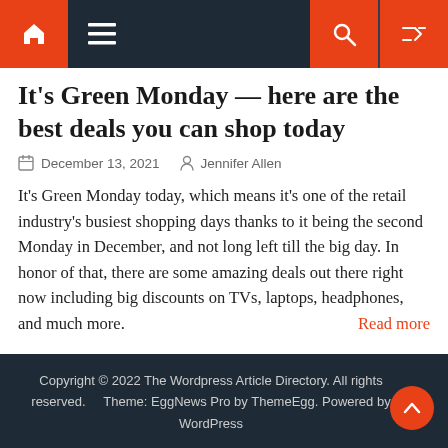Navigation bar with home, menu, search, and shuffle icons
It’s Green Monday — here are the best deals you can shop today
December 13, 2021   Jennifer Allen
It’s Green Monday today, which means it’s one of the retail industry’s busiest shopping days thanks to it being the second Monday in December, and not long left till the big day. In honor of that, there are some amazing deals out there right now including big discounts on TVs, laptops, headphones, and much more. Read more
Copyright © 2022 The Wordpress Article Directory. All rights reserved. Theme: EggNews Pro by ThemeEgg. Powered by WordPress